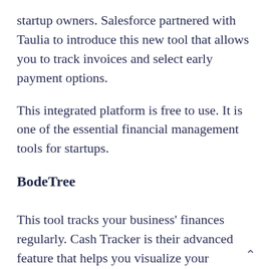startup owners. Salesforce partnered with Taulia to introduce this new tool that allows you to track invoices and select early payment options.
This integrated platform is free to use. It is one of the essential financial management tools for startups.
BodeTree
This tool tracks your business' finances regularly. Cash Tracker is their advanced feature that helps you visualize your income, expenses, and profits. You can use this tool to view and manage your finances.